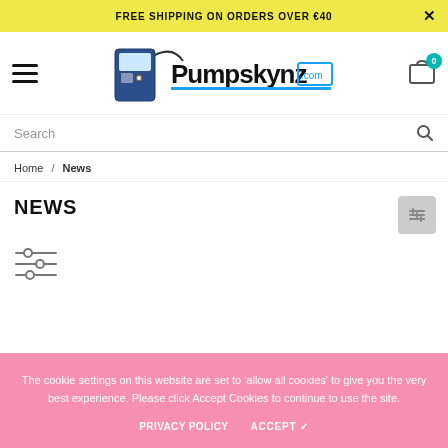FREE SHIPPING ON ORDERS OVER €40
[Figure (logo): Pumpskynz.com logo with insulin pump graphic and stylized text]
Search
Home / News
NEWS
[Figure (other): Filter/sort icon (three horizontal sliders)]
The cookie settings on this website are set to 'allow all cookies' to give you the very best experience. Please click Accept Cookies to continue to use the site.
PRIVACY POLICY   ACCEPT ✓